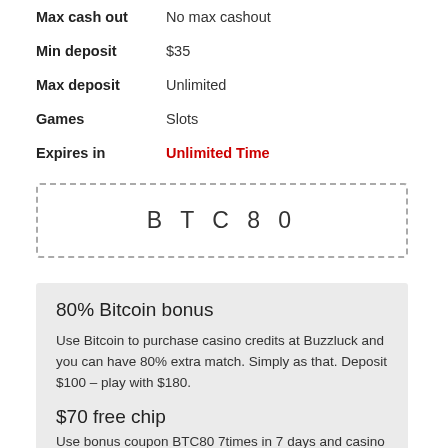| Max cash out | No max cashout |
| Min deposit | $35 |
| Max deposit | Unlimited |
| Games | Slots |
| Expires in | Unlimited Time |
BTC80
80% Bitcoin bonus
Use Bitcoin to purchase casino credits at Buzzluck and you can have 80% extra match. Simply as that. Deposit $100 – play with $180.
$70 free chip
Use bonus coupon BTC80 7times in 7 days and casino will...